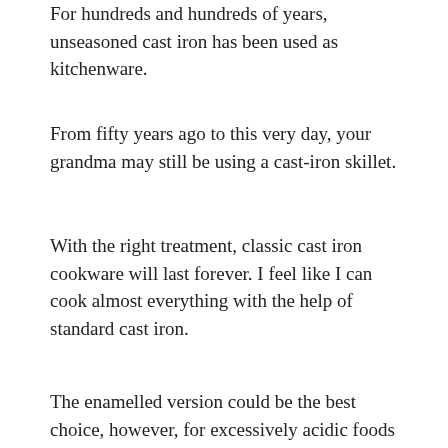For hundreds and hundreds of years, unseasoned cast iron has been used as kitchenware.
From fifty years ago to this very day, your grandma may still be using a cast-iron skillet.
With the right treatment, classic cast iron cookware will last forever. I feel like I can cook almost everything with the help of standard cast iron.
The enamelled version could be the best choice, however, for excessively acidic foods like tomato sauce.
Leave your costly enamel pans behind when